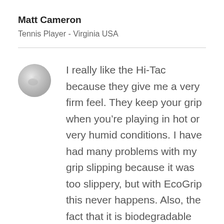Matt Cameron
Tennis Player - Virginia USA
I really like the Hi-Tac because they give me a very firm feel. They keep your grip when you’re playing in hot or very humid conditions. I have had many problems with my grip slipping because it was too slippery, but with EcoGrip this never happens. Also, the fact that it is biodegradable adds so much to the fact of how amazing the grips are.